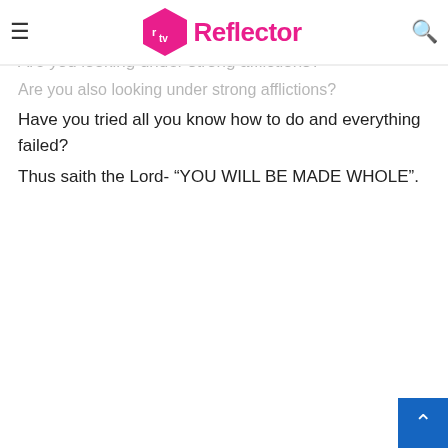rtv Reflector
Are you suffering from a pattern of failures and
Are you looking under strong afflictions?
Have you tried all you know how to do and everything failed?
Thus saith the Lord- “YOU WILL BE MADE WHOLE”.